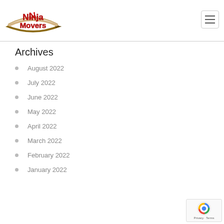[Figure (logo): Ninja Movers logo with red stylized text on an arched banner with a brown arrow]
Archives
August 2022
July 2022
June 2022
May 2022
April 2022
March 2022
February 2022
January 2022